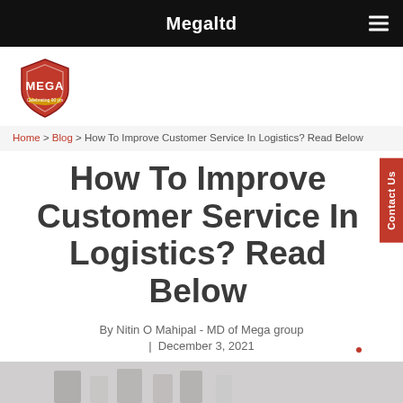Megaltd
[Figure (logo): MEGA shield/badge logo with text 'MEGA' and 'Celebrating 90 years']
Home > Blog > How To Improve Customer Service In Logistics? Read Below
How To Improve Customer Service In Logistics? Read Below
By Nitin O Mahipal - MD of Mega group
December 3, 2021
[Figure (photo): Partial image at bottom of page, appears to show people or objects]